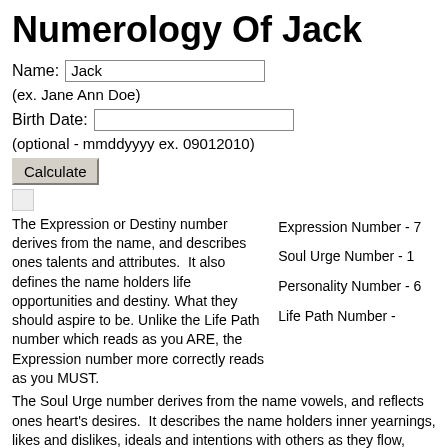Numerology Of Jack
Name: Jack
(ex. Jane Ann Doe)
Birth Date:
(optional - mmddyyyy ex. 09012010)
Calculate
The Expression or Destiny number derives from the name, and describes ones talents and attributes.  It also defines the name holders life opportunities and destiny. What they should aspire to be. Unlike the Life Path number which reads as you ARE, the Expression number more correctly reads as you MUST.
Expression Number - 7
Soul Urge Number - 1
Personality Number - 6
Life Path Number -
The Soul Urge number derives from the name vowels, and reflects ones heart's desires.  It describes the name holders inner yearnings, likes and dislikes, ideals and intentions with others as they flow, creating...